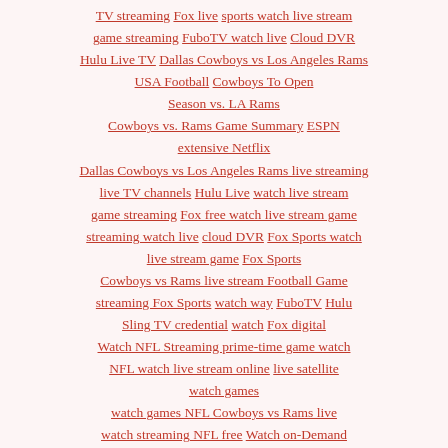TV streaming Fox live sports watch live stream game streaming FuboTV watch live Cloud DVR Hulu Live TV Dallas Cowboys vs Los Angeles Rams USA Football Cowboys To Open Season vs. LA Rams Cowboys vs. Rams Game Summary ESPN extensive Netflix Dallas Cowboys vs Los Angeles Rams live streaming live TV channels Hulu Live watch live stream game streaming Fox free watch live stream game streaming watch live cloud DVR Fox Sports watch live stream game Fox Sports Cowboys vs Rams live stream Football Game streaming Fox Sports watch way FuboTV Hulu Sling TV credential watch Fox digital Watch NFL Streaming prime-time game watch NFL watch live stream online live satellite watch games watch games NFL Cowboys vs Rams live watch streaming NFL free Watch on-Demand Cowboys vs Rams NFL Game Pass fine watching games on-demand NFL Game Pass Domestic watch NFL game season live games watch conclusion games watch games Dallas Cowboys vs Los Angeles Rams NFL Game streaming device NFL Mobile app handful different devices United States News about Dallas Cowboys Vs Los Angeles Rams Rams likely to wear new bone uniform vs. Cowboys in Week 1 Dallas Cowboys vs Los Angeles Rams Rams vs Cowboys Highlights Rams vs. Dallas Cowboys LIVE Los Angeles Rams - Dallas Cowboys - NFL Dallas Cowboys vs. Los Angeles Rams Results Football ... Cowboys preparing for no fans at season opener vs. Rams in LA NFC Championship - Dallas Cowboys at Los Angeles Rams What will the Cowboys get from pass